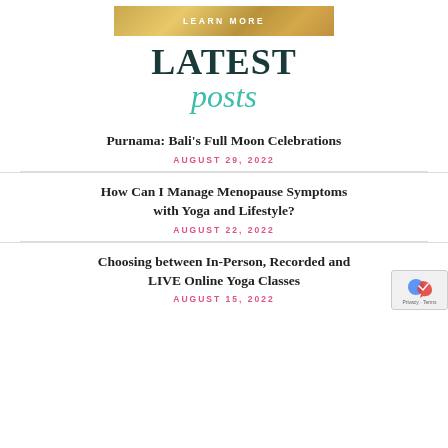[Figure (other): Gold/bronze banner button with text LEARN MORE in white uppercase letters]
LATEST posts
Purnama: Bali's Full Moon Celebrations
AUGUST 29, 2022
How Can I Manage Menopause Symptoms with Yoga and Lifestyle?
AUGUST 22, 2022
Choosing between In-Person, Recorded and LIVE Online Yoga Classes
AUGUST 15, 2022